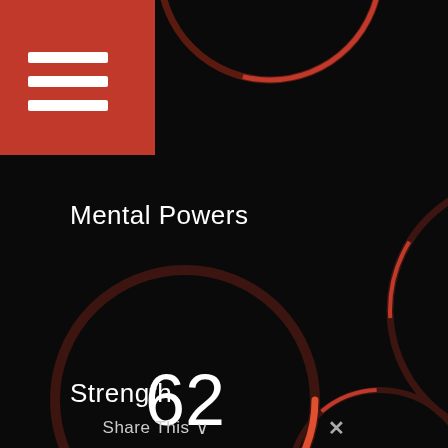[Figure (infographic): Hamburger menu icon in red square button, top left corner]
Mental Powers
[Figure (donut-chart): Circular gauge ring showing 62 score, orange arc on dark background, value 62 displayed in center]
Strength
Share This ∨   ✕